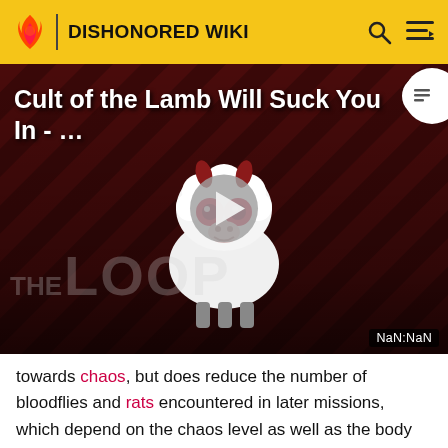DISHONORED WIKI
[Figure (screenshot): Video thumbnail for 'Cult of the Lamb Will Suck You In -...' with a cartoon demon lamb character, play button overlay, 'THE LOOP' watermark, and NaN:NaN time display on a dark red striped background.]
towards chaos, but does reduce the number of bloodflies and rats encountered in later missions, which depend on the chaos level as well as the body count.
If enemies are linked together through Domino, they will...